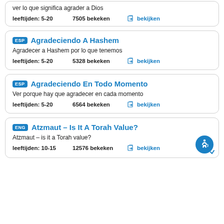ver lo que significa agrader a Dios
leeftijden: 5-20    7505 bekeken    bekijken
ESP Agradeciendo A Hashem
Agradecer a Hashem por lo que tenemos
leeftijden: 5-20    5328 bekeken    bekijken
ESP Agradeciendo En Todo Momento
Ver porque hay que agradecer en cada momento
leeftijden: 5-20    6564 bekeken    bekijken
ENG Atzmaut – Is It A Torah Value?
Atzmaut – is it a Torah value?
leeftijden: 10-15    12576 bekeken    bekijken